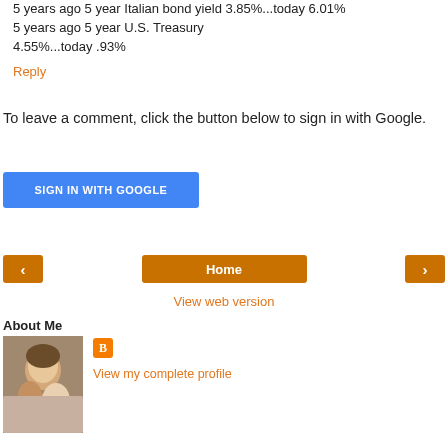5 years ago 5 year Italian bond yield 3.85%...today 6.01%
5 years ago 5 year U.S. Treasury 4.55%...today .93%
Reply
To leave a comment, click the button below to sign in with Google.
SIGN IN WITH GOOGLE
Home
View web version
About Me
[Figure (photo): Profile photo of two people]
View my complete profile